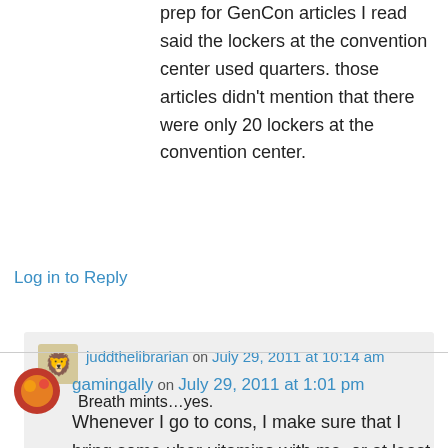prep for GenCon articles I read said the lockers at the convention center used quarters. those articles didn't mention that there were only 20 lockers at the convention center.
Log in to Reply
juddthelibrarian on July 29, 2011 at 10:14 am
Breath mints…yes.
Log in to Reply
gamingally on July 29, 2011 at 1:01 pm
Whenever I go to cons, I make sure that I bring some uber-vitamins with me, or at least b-12